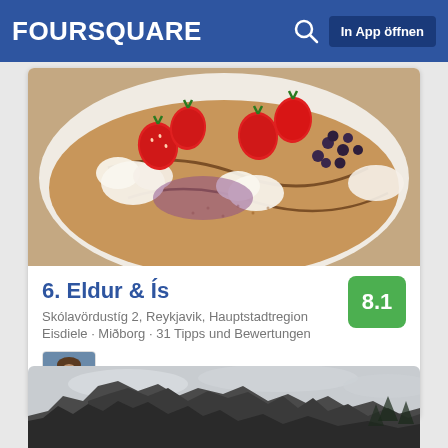FOURSQUARE  In App öffnen
[Figure (photo): Overhead photo of crepes/waffles topped with fresh strawberries, whipped cream, chocolate sauce, and blueberries on a white plate]
6. Eldur & Ís
Skólavördustíg 2, Reykjavik, Hauptstadtregion
Eisdiele · Miðborg · 31 Tipps und Bewertungen
Steve Dean: crepes 4 dayz
[Figure (photo): Landscape photo of dark rocky cliffs/ruins against an overcast sky]